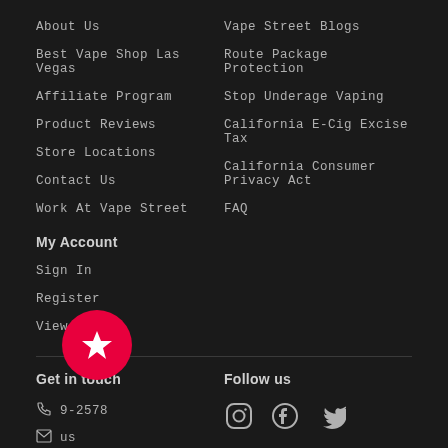About Us
Best Vape Shop Las Vegas
Affiliate Program
Product Reviews
Store Locations
Contact Us
Work At Vape Street
My Account
Sign In
Register
View Cart
Vape Street Blogs
Route Package Protection
Stop Underage Vaping
California E-Cig Excise Tax
California Consumer Privacy Act
FAQ
Get in touch
9-2578
us
Follow us
[Figure (other): Social media icons: Instagram, Facebook, Twitter]